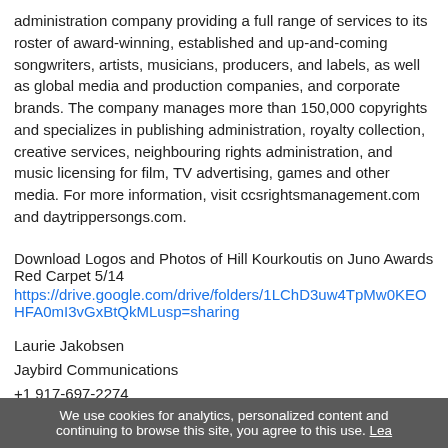administration company providing a full range of services to its roster of award-winning, established and up-and-coming songwriters, artists, musicians, producers, and labels, as well as global media and production companies, and corporate brands. The company manages more than 150,000 copyrights and specializes in publishing administration, royalty collection, creative services, neighbouring rights administration, and music licensing for film, TV advertising, games and other media. For more information, visit ccsrightsmanagement.com and daytrippersongs.com.
Download Logos and Photos of Hill Kourkoutis on Juno Awards Red Carpet 5/14
https://drive.google.com/drive/folders/1LChD3uw4TpMw0KEOHFA0mI3vGxBtQkML?usp=sharing
Laurie Jakobsen
Jaybird Communications
+1 917-697-2274
email us here
Visit us on social media:
Facebook
We use cookies for analytics, personalized content and continuing to browse this site, you agree to this use. Lea